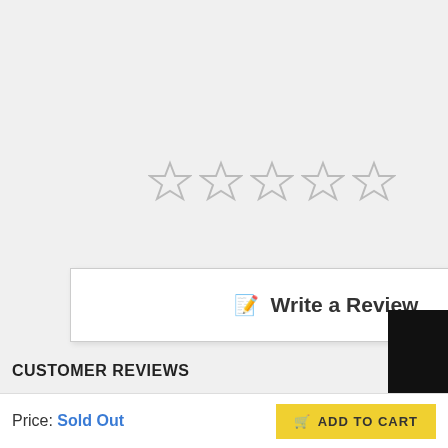[Figure (screenshot): Five empty star rating widgets (outlines only) for user rating input]
Write a Review
[Figure (screenshot): Five gray filled stars indicating no rating yet]
Be the first to review this item
NOTIFY WHEN AVAILABLE
♥ 0  Wish
CUSTOMER REVIEWS
Price: Sold Out
ADD TO CART